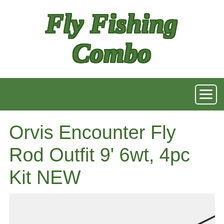Fly Fishing Combo
[Figure (screenshot): Navigation bar with hamburger menu icon on green background]
Orvis Encounter Fly Rod Outfit 9' 6wt, 4pc Kit NEW
[Figure (photo): Partial image of a fly fishing rod showing the tip and cork handle grip on a light gray background]